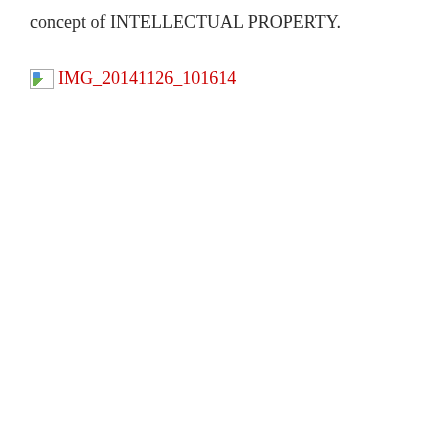concept of INTELLECTUAL PROPERTY.
[Figure (photo): Broken image placeholder with link text 'IMG_20141126_101614' shown in red]